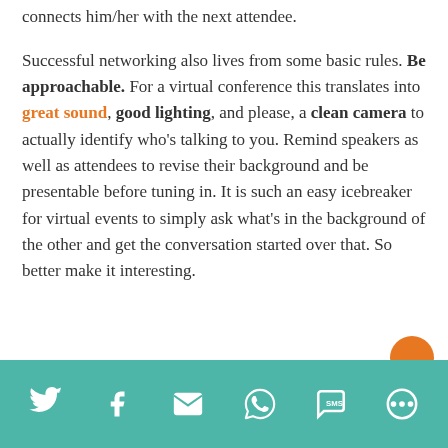connects him/her with the next attendee.
Successful networking also lives from some basic rules. Be approachable. For a virtual conference this translates into great sound, good lighting, and please, a clean camera to actually identify who's talking to you. Remind speakers as well as attendees to revise their background and be presentable before tuning in. It is such an easy icebreaker for virtual events to simply ask what's in the background of the other and get the conversation started over that. So better make it interesting.
[Figure (infographic): Social sharing footer bar with icons for Twitter, Facebook, Email, WhatsApp, SMS, and more options on a teal/green background.]